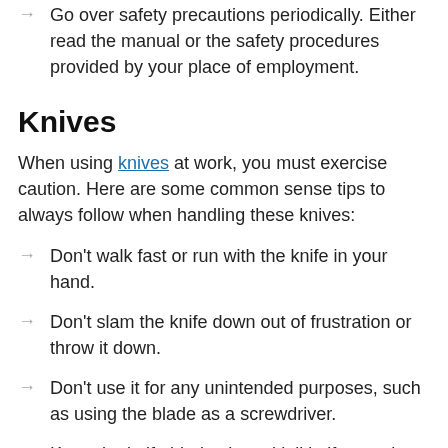Go over safety precautions periodically. Either read the manual or the safety procedures provided by your place of employment.
Knives
When using knives at work, you must exercise caution. Here are some common sense tips to always follow when handling these knives:
Don’t walk fast or run with the knife in your hand.
Don’t slam the knife down out of frustration or throw it down.
Don’t use it for any unintended purposes, such as using the blade as a screwdriver.
Keep the knife blade sharp (dull knifes tend to cause more injuries than sharp ones).